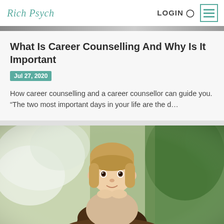Rich Psych | LOGIN
What Is Career Counselling And Why Is It Important
Jul 27, 2020
How career counselling and a career counsellor can guide you. “The two most important days in your life are the d…
[Figure (photo): A young toddler girl with blonde hair resting her chin on her hands on the shoulders of an adult, outdoors with blurred green trees and white blossoms in background.]